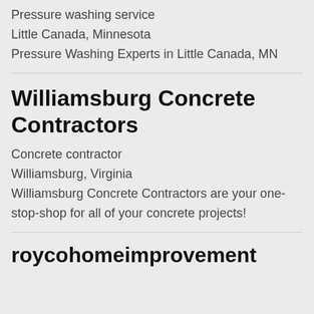Pressure washing service
Little Canada, Minnesota
Pressure Washing Experts in Little Canada, MN
Williamsburg Concrete Contractors
Concrete contractor
Williamsburg, Virginia
Williamsburg Concrete Contractors are your one-stop-shop for all of your concrete projects!
roycohomeimprovement